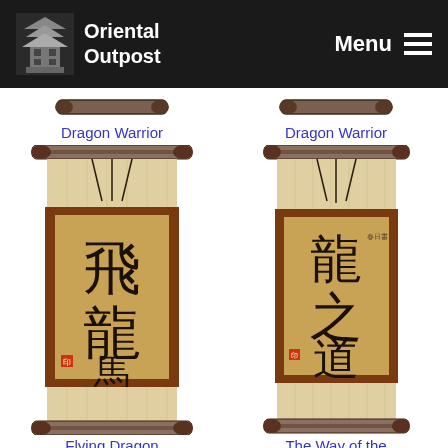Oriental Outpost  Menu
Dragon Warrior
Dragon Warrior
[Figure (illustration): Chinese calligraphy wall scroll showing Flying Dragon Horse (飛龍馬) in brush calligraphy on tan/gold paper with brown mount and dark wooden rods]
[Figure (illustration): Chinese calligraphy wall scroll showing The Way of the Dragon (龍之道) in brush calligraphy on tan/gold paper with brown mount and dark wooden rods]
Flying Dragon Horse
The Way of the Dragon